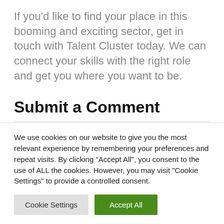If you'd like to find your place in this booming and exciting sector, get in touch with Talent Cluster today. We can connect your skills with the right role and get you where you want to be.
Submit a Comment
We use cookies on our website to give you the most relevant experience by remembering your preferences and repeat visits. By clicking "Accept All", you consent to the use of ALL the cookies. However, you may visit "Cookie Settings" to provide a controlled consent.